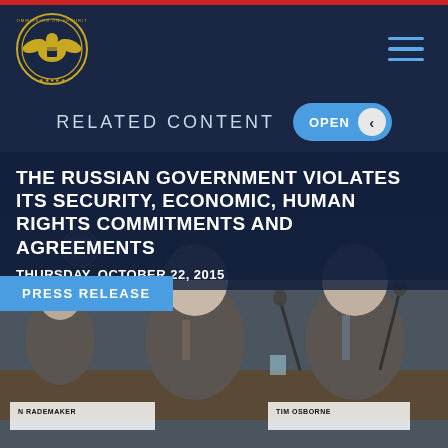RELATED CONTENT
THE RUSSIAN GOVERNMENT VIOLATES ITS SECURITY, ECONOMIC, HUMAN RIGHTS COMMITMENTS AND AGREEMENTS
THURSDAY, OCTOBER 22, 2015
PRESS RELEASE
[Figure (photo): Panel of men in suits seated at a conference table with microphones; name placards visible for RADEMAKER and OSBORNE]